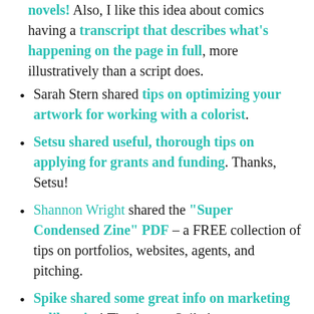novels! Also, I like this idea about comics having a transcript that describes what's happening on the page in full, more illustratively than a script does.
Sarah Stern shared tips on optimizing your artwork for working with a colorist.
Setsu shared useful, thorough tips on applying for grants and funding. Thanks, Setsu!
Shannon Wright shared the "Super Condensed Zine" PDF – a FREE collection of tips on portfolios, websites, agents, and pitching.
Spike shared some great info on marketing to libraries! Thank you, Spike!
TO Comix Press has shared a sample